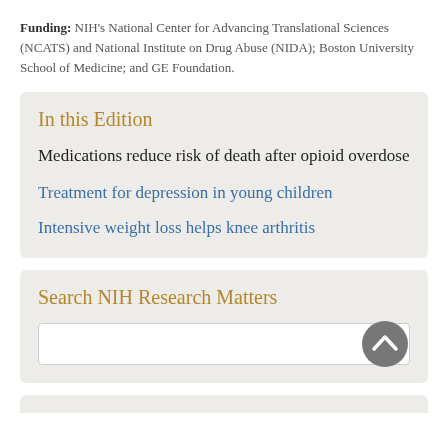Funding: NIH's National Center for Advancing Translational Sciences (NCATS) and National Institute on Drug Abuse (NIDA); Boston University School of Medicine; and GE Foundation.
In this Edition
Medications reduce risk of death after opioid overdose
Treatment for depression in young children
Intensive weight loss helps knee arthritis
Search NIH Research Matters